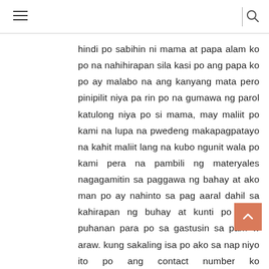≡ | 🔍
hindi po sabihin ni mama at papa alam ko po na nahihirapan sila kasi po ang papa ko po ay malabo na ang kanyang mata pero pinipilit niya pa rin po na gumawa ng parol katulong niya po si mama, may maliit po kami na lupa na pwedeng makapagpatayo na kahit maliit lang na kubo ngunit wala po kami pera na pambili ng materyales nagagamitin sa paggawa ng bahay at ako man po ay nahinto sa pag aaral dahil sa kahirapan ng buhay at kunti po sana puhanan para po sa gastusin sa pam[a]w araw. kung sakaling isa po ako sa nap[i]niyo ito po ang contact number ko 09499579223 or 09993774885 lubos po akong...